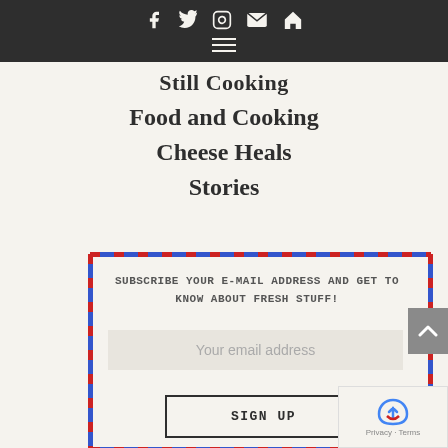Social icons: Facebook, Twitter, Instagram, Email, Home | Hamburger menu
Still Cooking
Food and Cooking
Cheese Heals
Stories
SUBSCRIBE YOUR E-MAIL ADDRESS AND GET TO KNOW ABOUT FRESH STUFF!
Your email address
SIGN UP